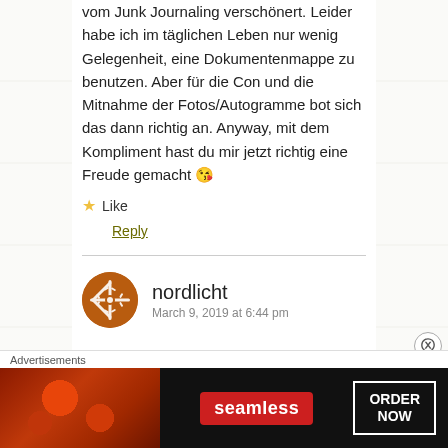vom Junk Journaling verschönert. Leider habe ich im täglichen Leben nur wenig Gelegenheit, eine Dokumentenmappe zu benutzen. Aber für die Con und die Mitnahme der Fotos/Autogramme bot sich das dann richtig an. Anyway, mit dem Kompliment hast du mir jetzt richtig eine Freude gemacht 😘
★ Like
Reply
nordlicht
March 9, 2019 at 6:44 pm
Advertisements
[Figure (screenshot): Seamless food delivery advertisement banner with pizza image on the left, Seamless logo in red badge in center, and ORDER NOW button on the right against dark background]